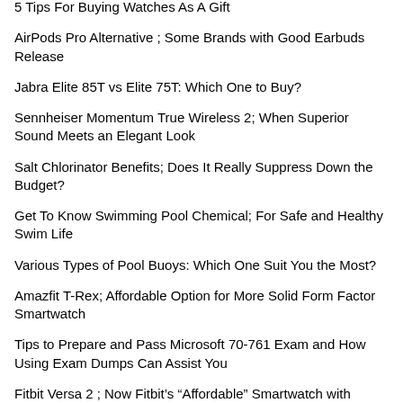5 Tips For Buying Watches As A Gift
AirPods Pro Alternative ; Some Brands with Good Earbuds Release
Jabra Elite 85T vs Elite 75T: Which One to Buy?
Sennheiser Momentum True Wireless 2; When Superior Sound Meets an Elegant Look
Salt Chlorinator Benefits; Does It Really Suppress Down the Budget?
Get To Know Swimming Pool Chemical; For Safe and Healthy Swim Life
Various Types of Pool Buoys: Which One Suit You the Most?
Amazfit T-Rex; Affordable Option for More Solid Form Factor Smartwatch
Tips to Prepare and Pass Microsoft 70-761 Exam and How Using Exam Dumps Can Assist You
Fitbit Versa 2 ; Now Fitbit's “Affordable” Smartwatch with